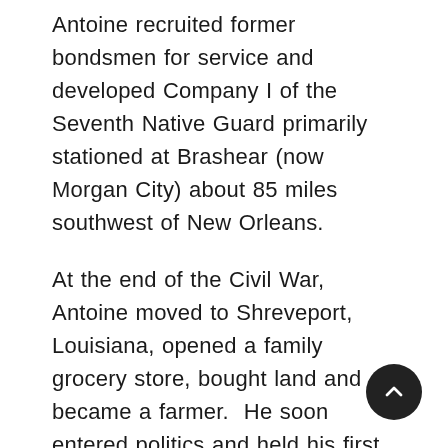Antoine recruited former bondsmen for service and developed Company I of the Seventh Native Guard primarily stationed at Brashear (now Morgan City) about 85 miles southwest of New Orleans.
At the end of the Civil War, Antoine moved to Shreveport, Louisiana, opened a family grocery store, bought land and became a farmer.  He soon entered politics and held his first office as a delegate to Louisiana's Constitutional Convention in 1868.  That convention set the parameters of Louisiana's Reconstruction-era state government. With black voting rights established under the protection of federal troops, Antoine served